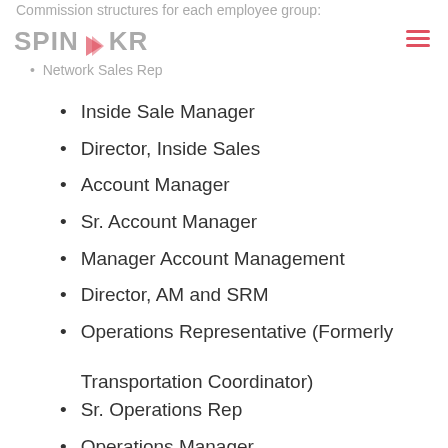Commission structures for each employee group:
[Figure (logo): SPINAKR logo with stylized arrow icon in red/pink]
Network Sales Rep
Inside Sale Manager
Director, Inside Sales
Account Manager
Sr. Account Manager
Manager Account Management
Director, AM and SRM
Operations Representative (Formerly Transportation Coordinator)
Sr. Operations Rep
Operations Manager
Sr. Operations Manager
Regional Director Operations